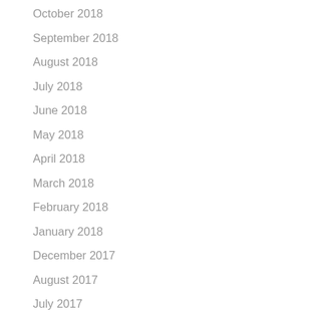October 2018
September 2018
August 2018
July 2018
June 2018
May 2018
April 2018
March 2018
February 2018
January 2018
December 2017
August 2017
July 2017
June 2017